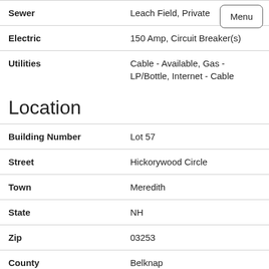| Field | Value |
| --- | --- |
| Sewer | Leach Field, Private |
| Electric | 150 Amp, Circuit Breaker(s) |
| Utilities | Cable - Available, Gas - LP/Bottle, Internet - Cable |
Location
| Field | Value |
| --- | --- |
| Building Number | Lot 57 |
| Street | Hickorywood Circle |
| Town | Meredith |
| State | NH |
| Zip | 03253 |
| County | Belknap |